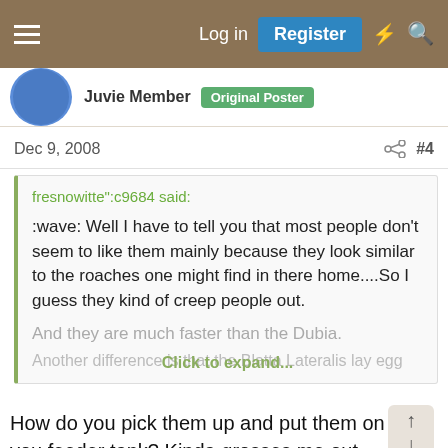Log in  Register
Juvie Member  Original Poster
Dec 9, 2008  #4
fresnowitte":c9684 said:
:wave: Well I have to tell you that most people don't seem to like them mainly because they look similar to the roaches one might find in there home....So I guess they kind of creep people out.
And they are much faster than the Dubia.
Another difference is that the Blatta Lateralis lay egg
Click to expand...
How do you pick them up and put them on you feeder tank? Kinda grosses me out picking up the egg tray and shaking the off, some mite get on my hand, with